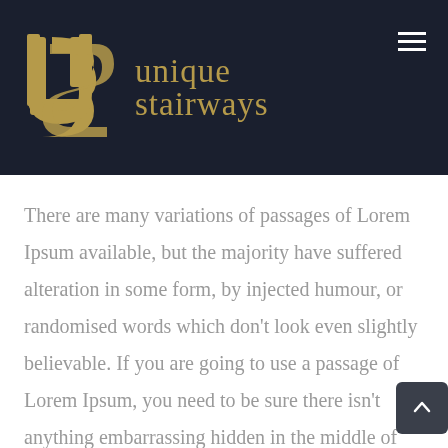unique stairways
There are many variations of passages of Lorem Ipsum available, but the majority have suffered alteration in some form, by injected humour, or randomised words which don't look even slightly believable. If you are going to use a passage of Lorem Ipsum, you need to be sure there isn't anything embarrassing hidden in the middle of text. All the Lorem